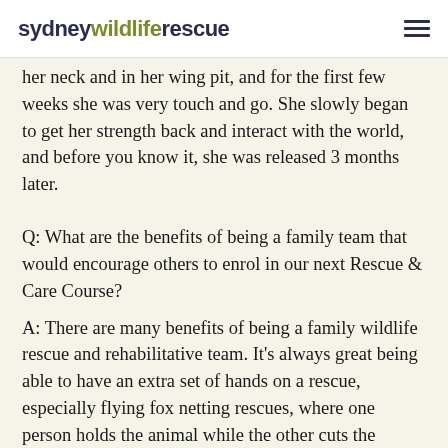sydney wildlife rescue
her neck and in her wing pit, and for the first few weeks she was very touch and go. She slowly began to get her strength back and interact with the world, and before you know it, she was released 3 months later.
Q: What are the benefits of being a family team that would encourage others to enrol in our next Rescue & Care Course?
A: There are many benefits of being a family wildlife rescue and rehabilitative team. It's always great being able to have an extra set of hands on a rescue, especially flying fox netting rescues, where one person holds the animal while the other cuts the animal out of